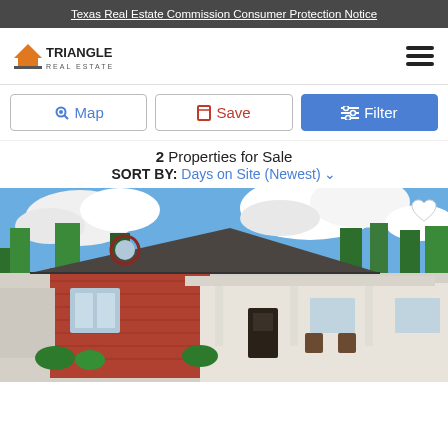Texas Real Estate Commission Consumer Protection Notice
[Figure (logo): Triangle Real Estate logo with orange house/roof icon and company name]
Map
Save
Filter
2 Properties for Sale
SORT BY: Days on Site (Newest)
[Figure (photo): Exterior photo of a brick ranch-style home with covered porch, green lawn, and trees in background under blue sky with clouds]